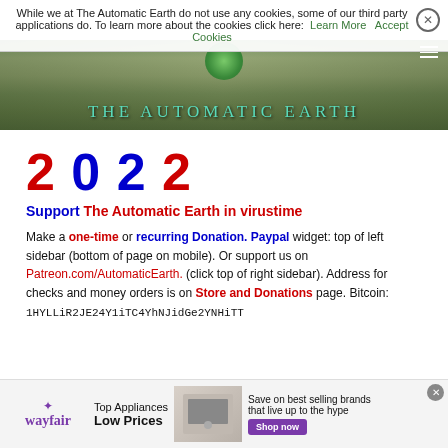While we at The Automatic Earth do not use any cookies, some of our third party applications do. To learn more about the cookies click here: Learn More  Accept Cookies
[Figure (photo): The Automatic Earth website header banner with aerial landscape background and teal site title text]
2022
Support The Automatic Earth in virustime
Make a one-time or recurring Donation. Paypal widget: top of left sidebar (bottom of page on mobile). Or support us on Patreon.com/AutomaticEarth. (click top of right sidebar). Address for checks and money orders is on Store and Donations page. Bitcoin: 1HYLLiR2JE24Y1iTC4YhNJidGe2YNHiTT
[Figure (screenshot): Wayfair advertisement banner: Top Appliances Low Prices, Save on best selling brands that live up to the hype, Shop now button]